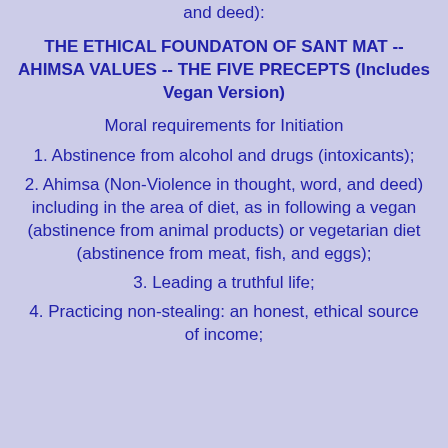and deed):
THE ETHICAL FOUNDATON OF SANT MAT -- AHIMSA VALUES -- THE FIVE PRECEPTS (Includes Vegan Version)
Moral requirements for Initiation
1. Abstinence from alcohol and drugs (intoxicants);
2. Ahimsa (Non-Violence in thought, word, and deed) including in the area of diet, as in following a vegan (abstinence from animal products) or vegetarian diet (abstinence from meat, fish, and eggs);
3. Leading a truthful life;
4. Practicing non-stealing: an honest, ethical source of income;